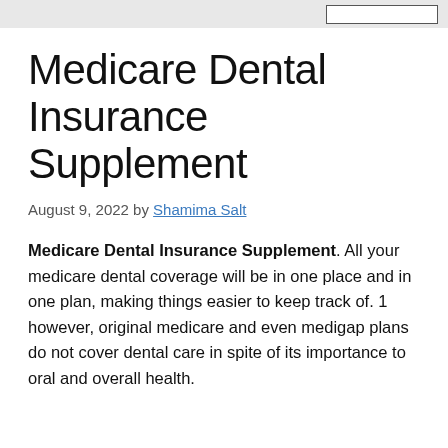Medicare Dental Insurance Supplement
August 9, 2022 by Shamima Salt
Medicare Dental Insurance Supplement. All your medicare dental coverage will be in one place and in one plan, making things easier to keep track of. 1 however, original medicare and even medigap plans do not cover dental care in spite of its importance to oral and overall health.